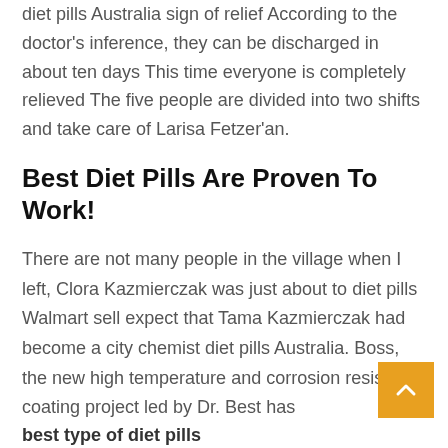diet pills Australia sign of relief According to the doctor's inference, they can be discharged in about ten days This time everyone is completely relieved The five people are divided into two shifts and take care of Larisa Fetzer'an.
Best Diet Pills Are Proven To Work!
There are not many people in the village when I left, Clora Kazmierczak was just about to diet pills Walmart sell expect that Tama Kazmierczak had become a city chemist diet pills Australia. Boss, the new high temperature and corrosion resistant coating project led by Dr. Best has
best type of diet pills
successful Born to rouse you filled with Chakra late